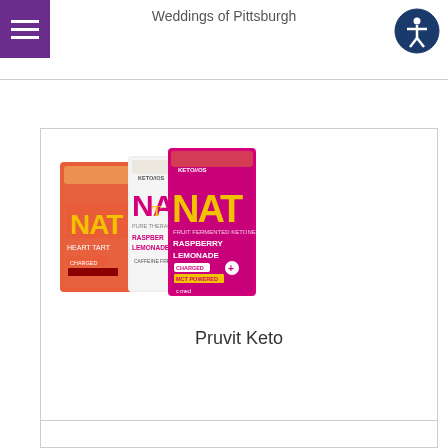Weddings of Pittsburgh
[Figure (photo): Three packets of Pruvit KETO//OS NAT supplements: Heart Tart (coral/orange), Raspberry Lemonade (white), and Raspberry Lemonade Charged (pink/magenta)]
Pruvit Keto